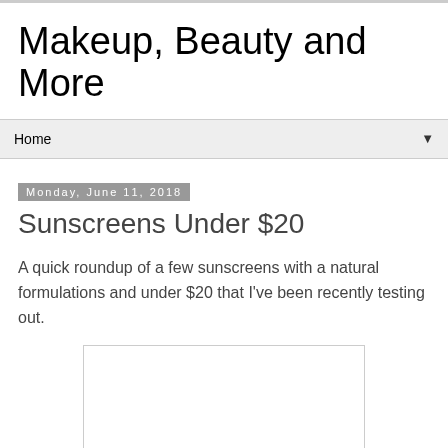Makeup, Beauty and More
Home
Monday, June 11, 2018
Sunscreens Under $20
A quick roundup of a few sunscreens with a natural formulations and under $20 that I've been recently testing out.
[Figure (other): White rectangular image placeholder box]